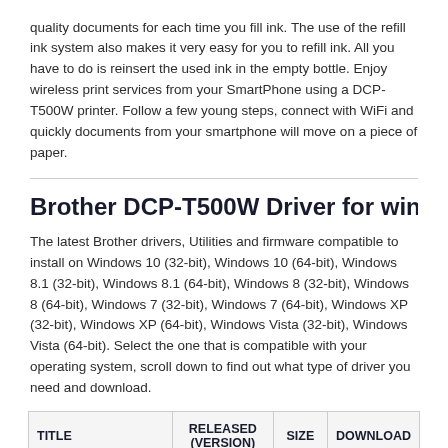quality documents for each time you fill ink. The use of the refill ink system also makes it very easy for you to refill ink. All you have to do is reinsert the used ink in the empty bottle. Enjoy wireless print services from your SmartPhone using a DCP-T500W printer. Follow a few young steps, connect with WiFi and quickly documents from your smartphone will move on a piece of paper.
Brother DCP-T500W Driver for windows
The latest Brother drivers, Utilities and firmware compatible to install on Windows 10 (32-bit), Windows 10 (64-bit), Windows 8.1 (32-bit), Windows 8.1 (64-bit), Windows 8 (32-bit), Windows 8 (64-bit), Windows 7 (32-bit), Windows 7 (64-bit), Windows XP (32-bit), Windows XP (64-bit), Windows Vista (32-bit), Windows Vista (64-bit). Select the one that is compatible with your operating system, scroll down to find out what type of driver you need and download.
| TITLE | RELEASED (VERSION) | SIZE | DOWNLOAD |
| --- | --- | --- | --- |